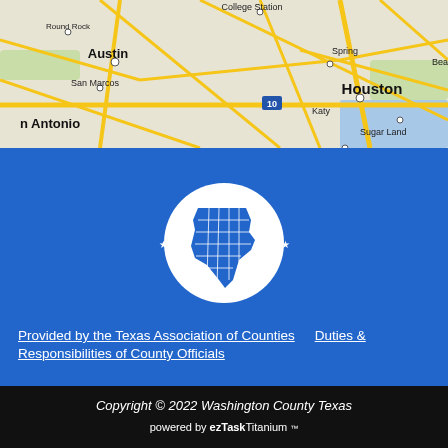[Figure (map): Partial map of Texas showing cities including Austin, Round Rock, College Station, San Marcos, San Antonio, Spring, Houston, Katy, Beaumont, Sugar Land, with road networks highlighted in yellow/gold.]
[Figure (logo): Texas Association of Counties circular logo — white circle with blue Texas state outline divided into counties, surrounded by text 'TEXAS ASSOCIATION of COUNTIES' with two stars.]
Provided by the Texas Association of Counties    Duties & Responsibilities of County Officials
Copyright © 2022 Washington County Texas
powered by ezTaskTitanium ™